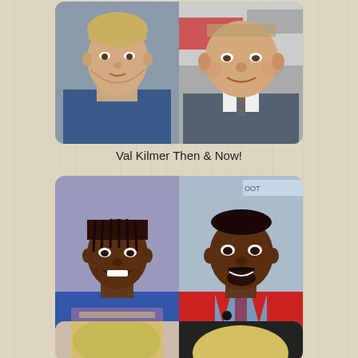[Figure (photo): Val Kilmer then and now: left photo shows young Val Kilmer in a blue jacket, right photo shows older Val Kilmer in a suit with tie at an event]
Val Kilmer Then & Now!
[Figure (photo): Marques Houston then and now: left photo shows young Marques Houston as a child with braids in a blue outfit, right photo shows adult Marques Houston in a red blazer at an event]
Marques Houston Then & Now!
[Figure (photo): Partial view of a third celebrity then and now comparison showing two blonde figures, cropped at bottom of page]